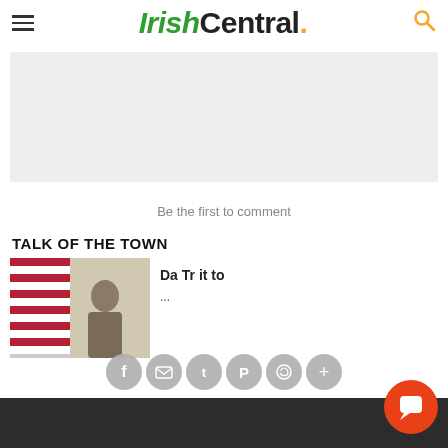IrishCentral.
[Figure (other): Gray advertisement placeholder banner]
Be the first to comment
TALK OF THE TOWN
[Figure (photo): Article thumbnail showing a person with US flag in background]
Da Tr it to